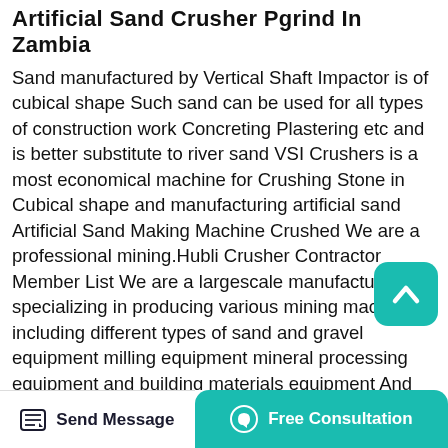Artificial Sand Crusher Pgrind In Zambia
Sand manufactured by Vertical Shaft Impactor is of cubical shape Such sand can be used for all types of construction work Concreting Plastering etc and is better substitute to river sand VSI Crushers is a most economical machine for Crushing Stone in Cubical shape and manufacturing artificial sand Artificial Sand Making Machine Crushed We are a professional mining.Hubli Crusher Contractor Member List We are a largescale manufacturer specializing in producing various mining machines including different types of sand and gravel equipment milling equipment mineral processing equipment and building materials equipment And they are mainly used to crush coarse minerals like gold and copper ore metals We are a professional
[Figure (other): Teal rounded square button with upward chevron arrow icon — scroll to top button]
Send Message   Free Consultation